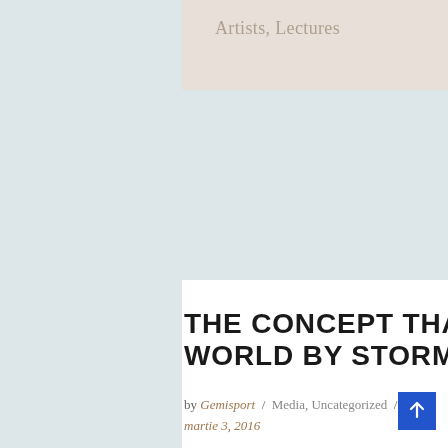Artists, Lectures
THE CONCEPT THAT TOOK THE WORLD BY STORM
by Gemisport / Media, Uncategorized / martie 3, 2016